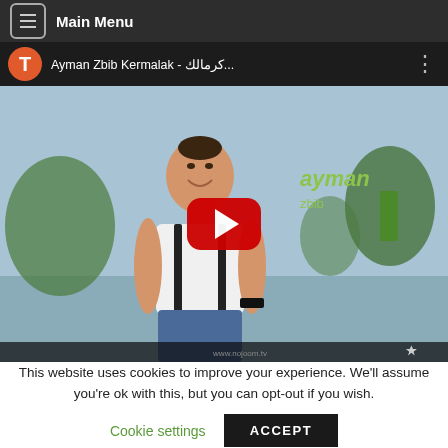Main Menu
[Figure (screenshot): YouTube video thumbnail for 'Ayman Zbib Kermalak - كرمالك' showing a man in white shirt with suspenders, with a red YouTube play button in the center. The video title bar shows an orange 'T' avatar and the video title in Arabic and English.]
This website uses cookies to improve your experience. We'll assume you're ok with this, but you can opt-out if you wish.
Cookie settings   ACCEPT